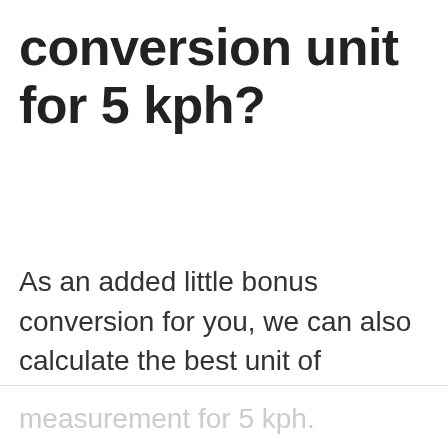conversion unit for 5 kph?
As an added little bonus conversion for you, we can also calculate the best unit of
measurement for 5 kph.